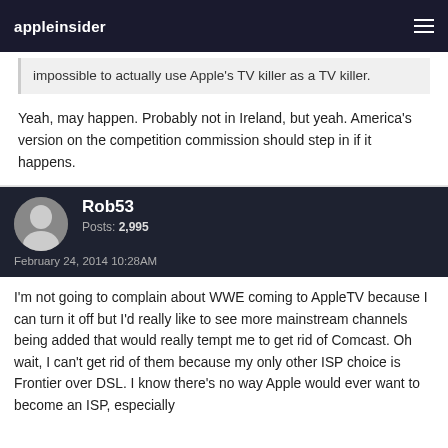appleinsider
impossible to actually use Apple's TV killer as a TV killer.
Yeah, may happen. Probably not in Ireland, but yeah. America's version on the competition commission should step in if it happens.
Rob53
Posts: 2,995
February 24, 2014 10:28AM
I'm not going to complain about WWE coming to AppleTV because I can turn it off but I'd really like to see more mainstream channels being added that would really tempt me to get rid of Comcast. Oh wait, I can't get rid of them because my only other ISP choice is Frontier over DSL. I know there's no way Apple would ever want to become an ISP, especially